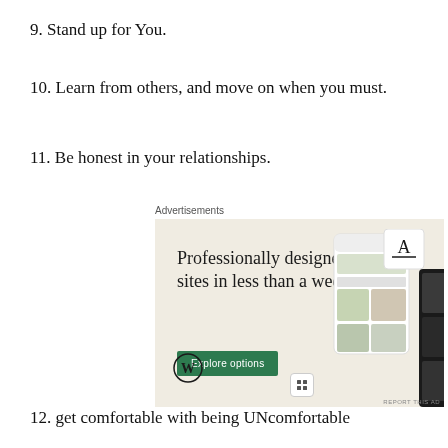9. Stand up for You.
10. Learn from others, and move on when you must.
11. Be honest in your relationships.
[Figure (other): WordPress advertisement banner: 'Professionally designed sites in less than a week' with an 'Explore options' button and website mockup screenshots]
12. get comfortable with being UNcomfortable